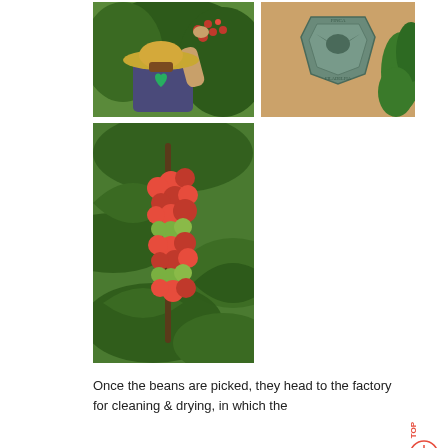[Figure (photo): Person in a straw hat and dark blue t-shirt with a green heart logo, picking red coffee cherries from a plant with green leaves]
[Figure (photo): Metal plaque or badge on a tan/beige wall reading 'FINCA FILADELFIA', with green plants visible to the right]
[Figure (photo): Close-up of red and green coffee cherries (berries) clustered on a branch surrounded by large green leaves]
Once the beans are picked, they head to the factory for cleaning & drying, in which the